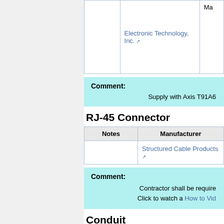| Notes | Manufacturer |
| --- | --- |
|  | Electronic Technology, Inc. ↗ | Ma... |
Comment: Supply with Axis T91A6
RJ-45 Connector
| Notes | Manufacturer |
| --- | --- |
|  | Structured Cable Products ↗ |
Comment: Contractor shall be required... Click to watch a How to Vid...
Conduit